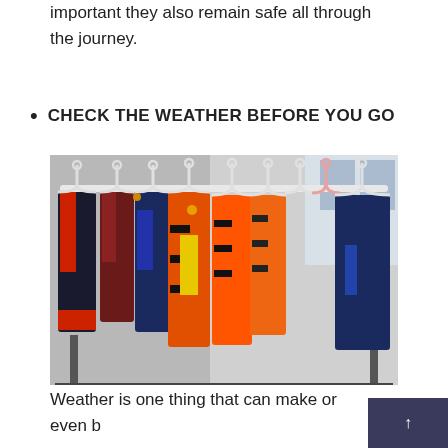important they also remain safe all through the journey.
CHECK THE WEATHER BEFORE YOU GO
[Figure (photo): A rack of colorful life jackets and life vests hanging on white hangers on a metal rod, with various colors including orange, blue, yellow, red, and black.]
Weather is one thing that can make or even b